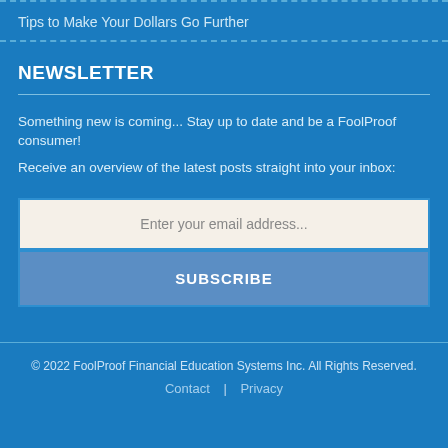Tips to Make Your Dollars Go Further
NEWSLETTER
Something new is coming... Stay up to date and be a FoolProof consumer!
Receive an overview of the latest posts straight into your inbox:
Enter your email address...
SUBSCRIBE
© 2022 FoolProof Financial Education Systems Inc. All Rights Reserved.
Contact | Privacy